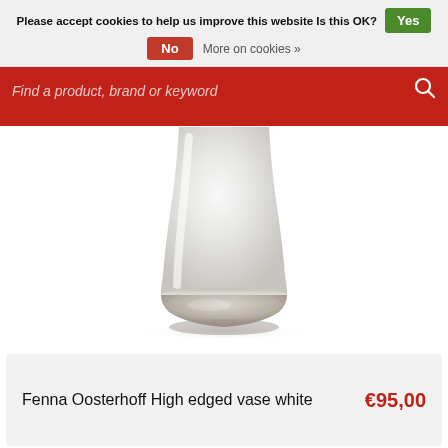Please accept cookies to help us improve this website Is this OK? Yes
No   More on cookies »
Find a product, brand or keyword
[Figure (photo): Close-up of a white ceramic vase (Fenna Oosterhoff High edged vase) showing the bottom portion with a ridged base, on a white background with soft shadow.]
Fenna Oosterhoff High edged vase white   €95,00